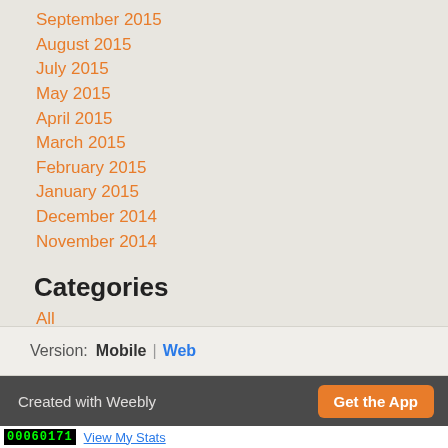September 2015
August 2015
July 2015
May 2015
April 2015
March 2015
February 2015
January 2015
December 2014
November 2014
Categories
All
RSS Feed
Version:  Mobile | Web
Created with Weebly  Get the App
00060171  View My Stats